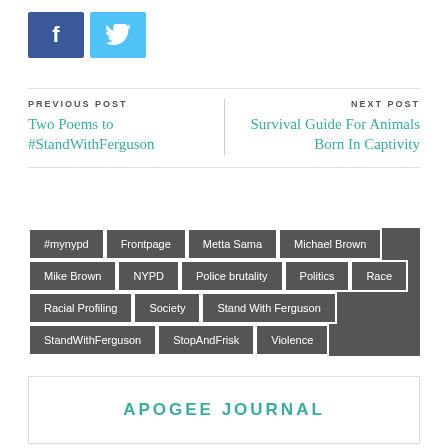[Figure (other): Facebook and Twitter social share buttons]
PREVIOUS POST
Two Poems to #StandWithFerguson
NEXT POST
Survival Guide For Animals Born In Captivity
#mynypd
Frontpage
Metta Sama
Michael Brown
Mike Brown
NYPD
Police brutality
Politics
Race
Racial Profiling
Society
Stand With Ferguson
StandWithFerguson
StopAndFrisk
Violence
APOGEE JOURNAL